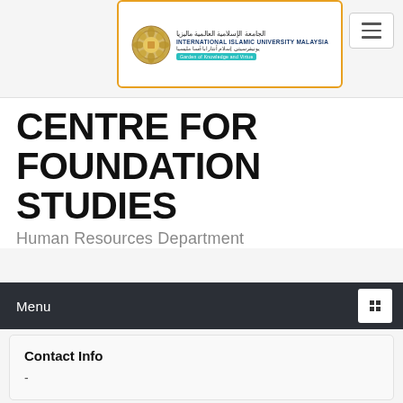[Figure (logo): International Islamic University Malaysia (IIUM) logo with Arabic text, English name, Malay text, and 'Garden of Knowledge and Virtue' tagline on teal banner, inside an orange-bordered white box]
CENTRE FOR FOUNDATION STUDIES
Human Resources Department
Menu
Contact Info
-